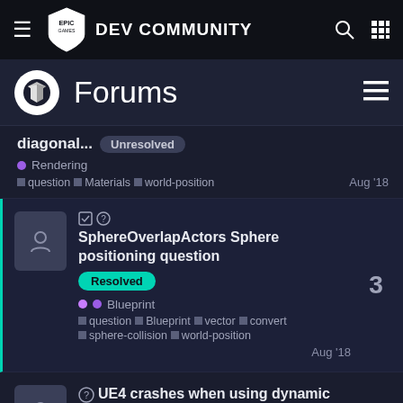Epic Games DEV COMMUNITY
Forums
diagonal... Unresolved
Rendering
question Materials world-position Aug '18
SphereOverlapActors Sphere positioning question Resolved
Blueprint
question Blueprint vector convert sphere-collision world-position Aug '18 — 3 replies
UE4 crashes when using dynamic cascaded shadows — 13 replies